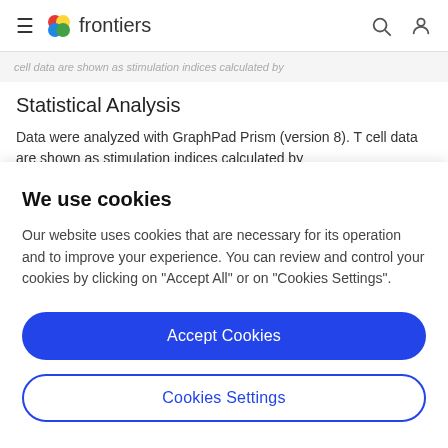frontiers
cell data are shown as stimulation indices calculated by
Statistical Analysis
Data were analyzed with GraphPad Prism (version 8). T cell data are shown as stimulation indices calculated by
We use cookies
Our website uses cookies that are necessary for its operation and to improve your experience. You can review and control your cookies by clicking on "Accept All" or on "Cookies Settings".
Accept Cookies
Cookies Settings